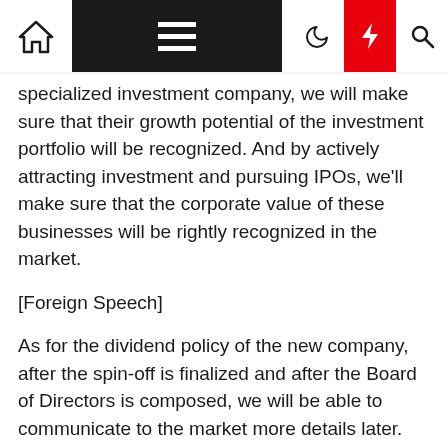[Navigation bar with home, menu, dark mode, lightning, and search icons]
specialized investment company, we will make sure that their growth potential of the investment portfolio will be recognized. And by actively attracting investment and pursuing IPOs, we'll make sure that the corporate value of these businesses will be rightly recognized in the market.
[Foreign Speech]
As for the dividend policy of the new company, after the spin-off is finalized and after the Board of Directors is composed, we will be able to communicate to the market more details later.
Hyoung-il Ha — Head of Corporate Center II
[Foreign Speech]
I am Hyoung-il Ha, Head of Corporate Center II. Let